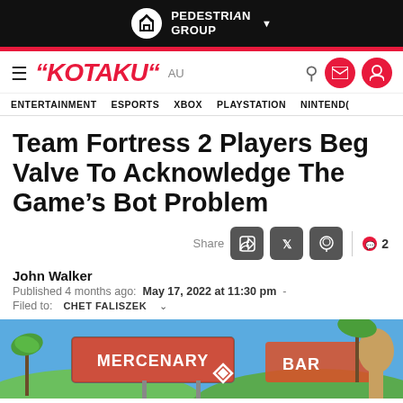PEDESTRIAN GROUP
≡ KOTAKU AU — ENTERTAINMENT  ESPORTS  XBOX  PLAYSTATION  NINTEND(
Team Fortress 2 Players Beg Valve To Acknowledge The Game's Bot Problem
Share  [Facebook] [Twitter] [Reddit]  💬 2
John Walker
Published 4 months ago:  May 17, 2022 at 11:30 pm  -
Filed to:  CHET FALISZEK
[Figure (photo): Hero image showing the Team Fortress 2 Mercenary Park sign with palm trees and a statue, sky background]